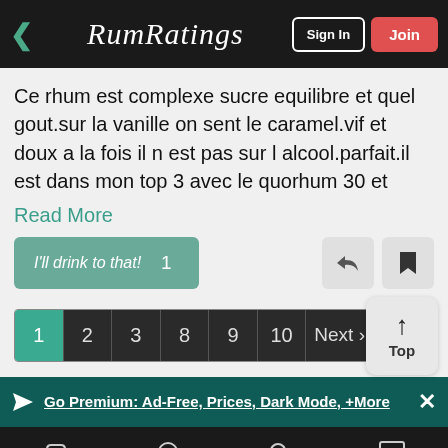RumRatings — Sign In | Join
Ce rhum est complexe sucre equilibre et quel gout.sur la vanille on sent le caramel.vif et doux a la fois il n est pas sur l alcool.parfait.il est dans mon top 3 avec le quorhum 30 et
Read More
I'll drink to that!  1
1 2 3 8 9 10 Next ›
Top
Go Premium: Ad-Free, Prices, Dark Mode, +More
Rum  Discuss  Search  Stream